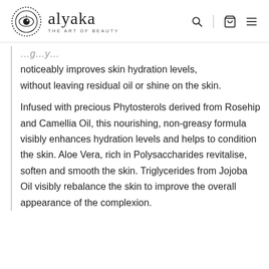alyaka THE ART OF BEAUTY
noticeably improves skin hydration levels, without leaving residual oil or shine on the skin.

Infused with precious Phytosterols derived from Rosehip and Camellia Oil, this nourishing, non-greasy formula visibly enhances hydration levels and helps to condition the skin. Aloe Vera, rich in Polysaccharides revitalise, soften and smooth the skin. Triglycerides from Jojoba Oil visibly rebalance the skin to improve the overall appearance of the complexion.